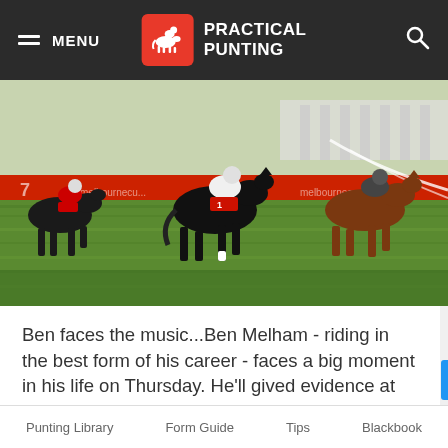MENU | PRACTICAL PUNTING
[Figure (photo): Horse race photograph showing multiple horses racing at speed on a grass track, with red advertising boards in the background. Jockeys in racing silks are visible on dark horses competing in a race.]
Ben faces the music...Ben Melham - riding in the best form of his career - faces a big moment in his life on Thursday. He'll gived evidence at an adjourned inquiry into his riding tactics on Cross Street at
Punting Library   Form Guide   Tips   Blackbook